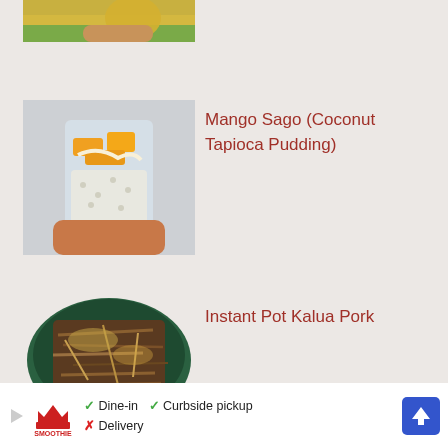[Figure (photo): Partial top-cropped photo of a yellow-green smoothie or juice drink held by a hand, with green background]
[Figure (photo): Glass cup held by hand containing white tapioca/sago pudding topped with orange mango pieces, on a light background]
Mango Sago (Coconut Tapioca Pudding)
[Figure (photo): Bowl of shredded pulled pork (Instant Pot Kalua Pork) in a dark green bowl]
Instant Pot Kalua Pork
[Figure (other): Advertisement banner: Smoothie King logo with play icon, checkmark Dine-in, checkmark Curbside pickup, X Delivery, blue navigation arrow icon]